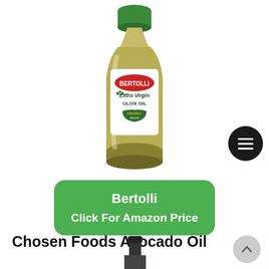[Figure (photo): Large plastic bottle of Bertolli Extra Virgin Olive Oil with green cap and white label, shown on white background]
Bertolli
Click For Amazon Price
Chosen Foods Avocado Oil
[Figure (photo): Bottom portion of next product bottle (Chosen Foods Avocado Oil) visible at bottom of page]